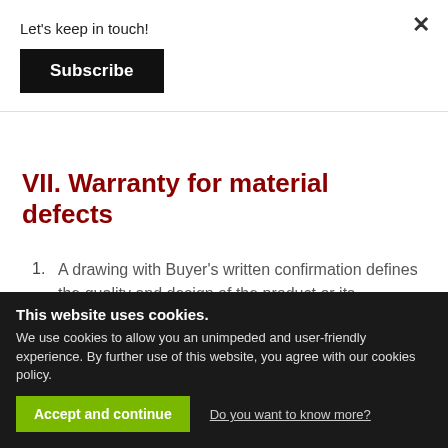Let's keep in touch!
Subscribe
VII. Warranty for material defects
A drawing with Buyer's written confirmation defines the quality and design of the product or its implementation in case of agreed and confirmed sample product forwarded to the Buyer by the Supplier. Any references to technical standards shall only serve as a help in defining product quality and must not be
This website uses cookies.
We use cookies to allow you an unimpeded and user-friendly experience. By further use of this website, you agree with our cookies policy.
Accept and continue
Do you want to know more?